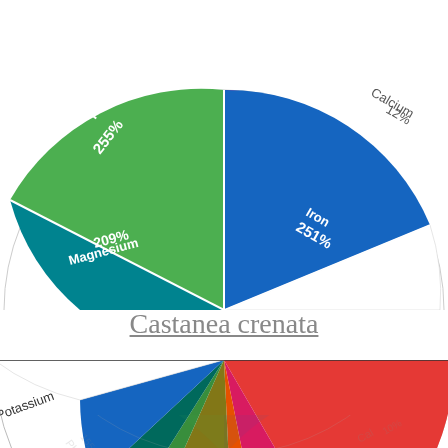[Figure (pie-chart): Top chart (partial, upper)]
Castanea crenata
[Figure (pie-chart): Castanea crenata minerals chart]
[Figure (pie-chart): Faded reflection of lower pie chart showing Phosphorus, Calcium labels]